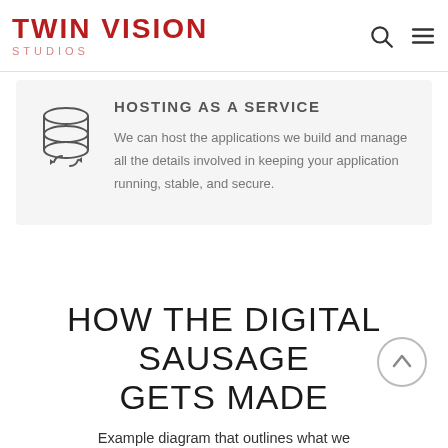TWIN VISION STUDIOS
HOSTING AS A SERVICE
We can host the applications we build and manage all the details involved in keeping your application running, stable, and secure.
HOW THE DIGITAL SAUSAGE GETS MADE
Example diagram that outlines what we use to make the best tasting digital